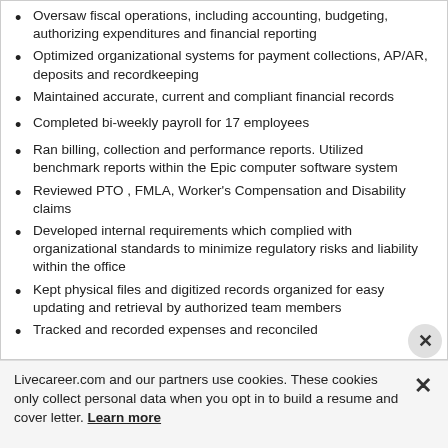Oversaw fiscal operations, including accounting, budgeting, authorizing expenditures and financial reporting
Optimized organizational systems for payment collections, AP/AR, deposits and recordkeeping
Maintained accurate, current and compliant financial records
Completed bi-weekly payroll for 17 employees
Ran billing, collection and performance reports. Utilized benchmark reports within the Epic computer software system
Reviewed PTO , FMLA, Worker's Compensation and Disability claims
Developed internal requirements which complied with organizational standards to minimize regulatory risks and liability within the office
Kept physical files and digitized records organized for easy updating and retrieval by authorized team members
Tracked and recorded expenses and reconciled
Livecareer.com and our partners use cookies. These cookies only collect personal data when you opt in to build a resume and cover letter. Learn more